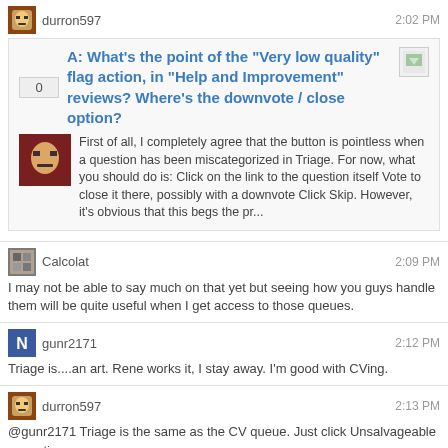durron597 — 2:02 PM
A: What's the point of the "Very low quality" flag action, in "Help and Improvement" reviews? Where's the downvote / close option?
First of all, I completely agree that the button is pointless when a question has been miscategorized in Triage. For now, what you should do is: Click on the link to the question itself Vote to close it there, possibly with a downvote Click Skip. However, it's obvious that this begs the pr...
Calcolat — 2:09 PM — I may not be able to say much on that yet but seeing how you guys handle them will be quite useful when I get access to those queues.
gunr2171 — 2:12 PM — Triage is....an art. Rene works it, I stay away. I'm good with CVing.
durron597 — 2:13 PM — @gunr2171 Triage is the same as the CV queue. Just click Unsalvageable every time.
gunr2171 — 2:13 PM — :D
Calcolat — 2:13 PM — Funnily enough, triage is also one of the first queues we get access to.
durron597 — 2:13 PM